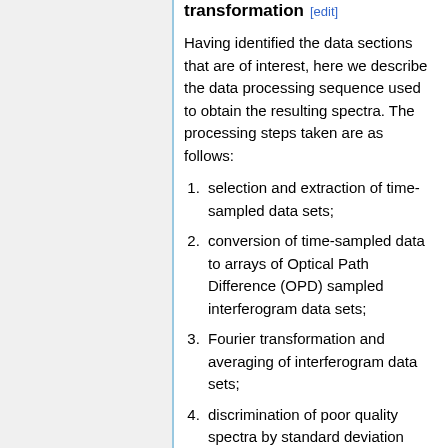transformation [edit]
Having identified the data sections that are of interest, here we describe the data processing sequence used to obtain the resulting spectra. The processing steps taken are as follows:
selection and extraction of time-sampled data sets;
conversion of time-sampled data to arrays of Optical Path Difference (OPD) sampled interferogram data sets;
Fourier transformation and averaging of interferogram data sets;
discrimination of poor quality spectra by standard deviation comparison (see HFI spectral response data processing);
division of detector spectra by